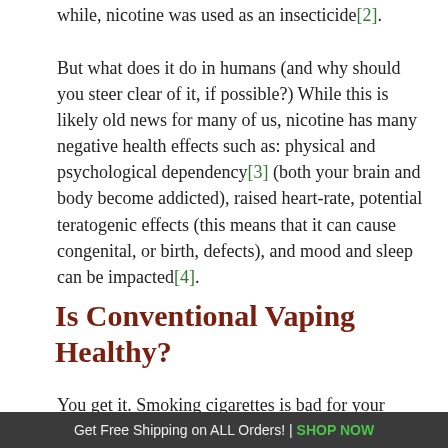while, nicotine was used as an insecticide[2].
But what does it do in humans (and why should you steer clear of it, if possible?) While this is likely old news for many of us, nicotine has many negative health effects such as: physical and psychological dependency[3] (both your brain and body become addicted), raised heart-rate, potential teratogenic effects (this means that it can cause congenital, or birth, defects), and mood and sleep can be impacted[4].
Is Conventional Vaping Healthy?
You get it. Smoking cigarettes is bad for your health (and nicotine doesn't sound too nice, either!). What about conventional vapes? I'm not talking about CBD vape pens yet, but rather about Juul, Blu, and a myriad
Get Free Shipping on ALL Orders! | SHOP NOW